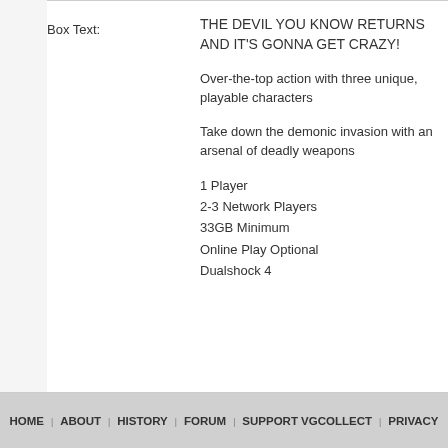Box Text: THE DEVIL YOU KNOW RETURNS AND IT'S GONNA GET CRAZY!

Over-the-top action with three unique, playable characters

Take down the demonic invasion with an arsenal of deadly weapons

1 Player
2-3 Network Players
33GB Minimum
Online Play Optional
Dualshock 4
HOME | ABOUT | HISTORY | FORUM | SUPPORT VGCOLLECT | PRIVACY